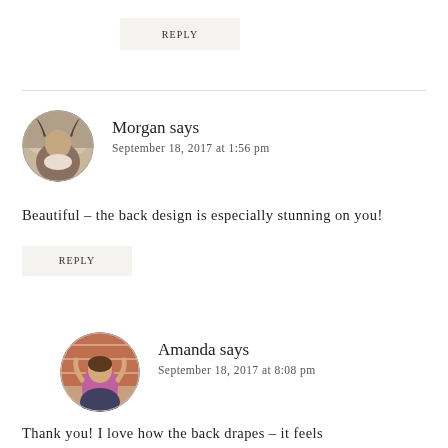REPLY
Morgan says
September 18, 2017 at 1:56 pm
Beautiful – the back design is especially stunning on you!
REPLY
Amanda says
September 18, 2017 at 8:08 pm
Thank you! I love how the back drapes – it feels